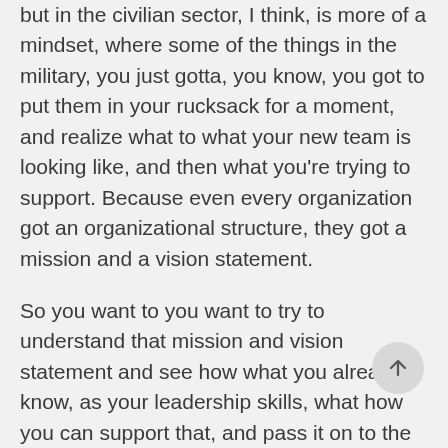but in the civilian sector, I think, is more of a mindset, where some of the things in the military, you just gotta, you know, you got to put them in your rucksack for a moment, and realize what to what your new team is looking like, and then what you're trying to support. Because even every organization got an organizational structure, they got a mission and a vision statement.
So you want to you want to try to understand that mission and vision statement and see how what you already know, as your leadership skills, what how you can support that, and pass it on to the leadership and show them how you can support whether you're trying to go, you know, like I tell them all to try to find out